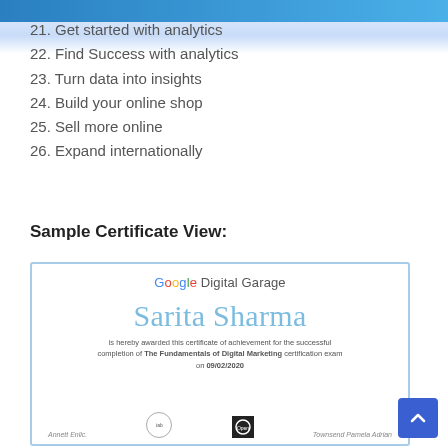21. Get started with analytics
22. Find Success with analytics
23. Turn data into insights
24. Build your online shop
25. Sell more online
26. Expand internationally
Sample Certificate View:
[Figure (screenshot): Google Digital Garage certificate awarded to Sarita Sharma for successful completion of The Fundamentals of Digital Marketing certification exam on 09/02/2020]